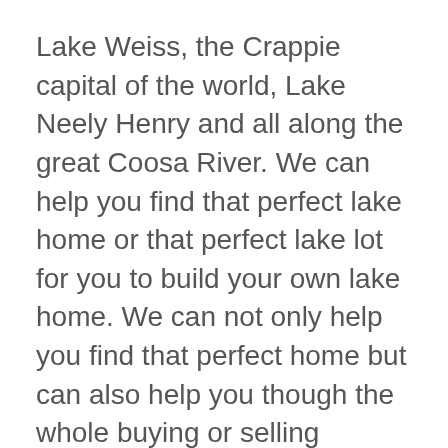Lake Weiss, the Crappie capital of the world, Lake Neely Henry and all along the great Coosa River. We can help you find that perfect lake home or that perfect lake lot for you to build your own lake home. We can not only help you find that perfect home but can also help you though the whole buying or selling process. We work with lenders that will work hard for you to get qualified. We can supply you with a host of names for your home and termite inspection.
We only work with quality vendors because Like you, we don't like problems that harm our business or customers. We are proud of our good reputation and will be with you